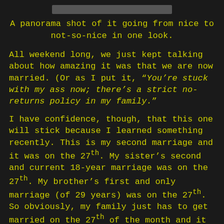[Figure (photo): A gray bar at the top representing a panorama photo placeholder]
A panorama shot of it going from nice to not-so-nice in one look.
All weekend long, we just kept talking about how amazing it was that we are now married. (Or as I put it, “You’re stuck with my ass now; there’s a strict no-returns policy in my family.”
I have confidence, though, that this one will stick because I learned something recently. This is my second marriage and it was on the 27th. My sister’s second and current 18-year marriage was on the 27th. My brother’s first and only marriage (of 29 years) was on the 27th. So obviously, my family just has to get married on the 27th of the month and it will last forever!
I don’t believe we all have “that one soulmate,” or in divine intervention, but I’m with the person I’m supposed to be with. She’s the best woman I’ve ever met, or at least the best for